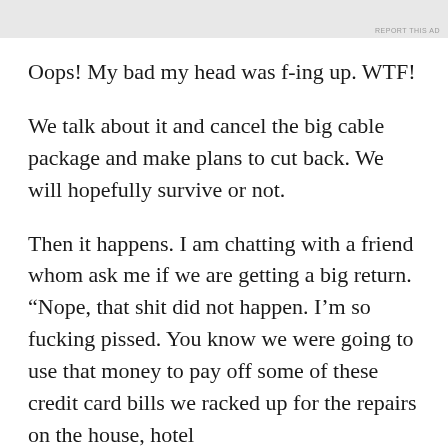Oops! My bad my head was f-ing up. WTF!
We talk about it and cancel the big cable package and make plans to cut back. We will hopefully survive or not.
Then it happens. I am chatting with a friend whom ask me if we are getting a big return. “Nope, that shit did not happen. I’m so fucking pissed. You know we were going to use that money to pay off some of these credit card bills we racked up for the repairs on the house, hotel